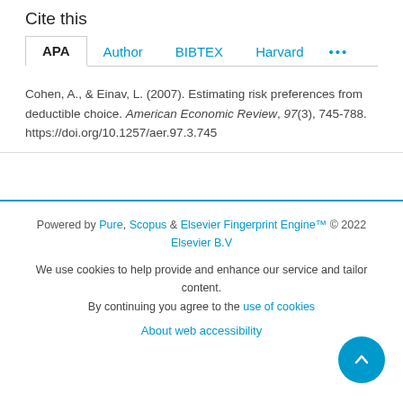Cite this
APA | Author | BIBTEX | Harvard | ...
Cohen, A., & Einav, L. (2007). Estimating risk preferences from deductible choice. American Economic Review, 97(3), 745-788. https://doi.org/10.1257/aer.97.3.745
Powered by Pure, Scopus & Elsevier Fingerprint Engine™ © 2022 Elsevier B.V
We use cookies to help provide and enhance our service and tailor content. By continuing you agree to the use of cookies
About web accessibility